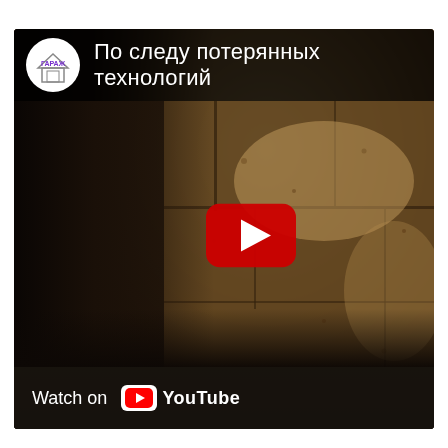[Figure (screenshot): YouTube video thumbnail showing a dark image of ancient stone blocks/walls with a hand shadow on the left side. The video title in Russian reads 'По следу потерянных технологий' (On the trail of lost technologies). The channel logo (Гараж/Garazh) appears in the top-left corner. A YouTube play button (red rounded rectangle with white triangle) is centered in the image. A 'Watch on YouTube' bar appears at the bottom.]